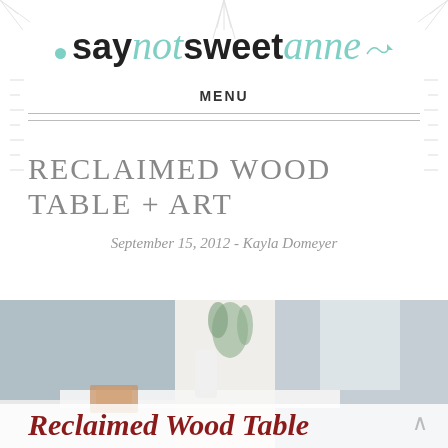[Figure (logo): Say Not Sweet Anne blog logo with teal dot on left, teal script 'not' and 'anne', black bold 'say' and 'sweet', teal arrow/swirl on right]
MENU
RECLAIMED WOOD TABLE + ART
September 15, 2012 - Kayla Domeyer
[Figure (photo): Partial photo of a room scene with white furniture and plants, overlaid with text 'Reclaimed Wood Table' in dark red italic script]